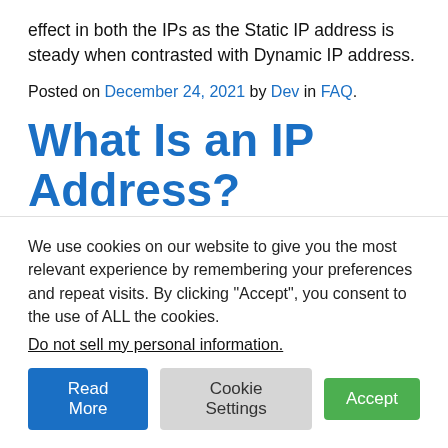effect in both the IPs as the Static IP address is steady when contrasted with Dynamic IP address.
Posted on December 24, 2021 by Dev in FAQ.
What Is an IP Address?
IP Address represents Internet Protocol Address and is a mathematical name that every one of the gadgets
chipping away at the internet is appointed. For various
We use cookies on our website to give you the most relevant experience by remembering your preferences and repeat visits. By clicking “Accept”, you consent to the use of ALL the cookies.
Do not sell my personal information.